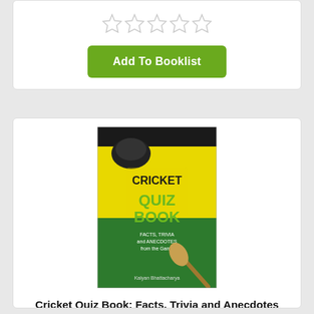[Figure (other): Five empty star rating icons in a row]
Add To Booklist
[Figure (photo): Book cover of Cricket Quiz Book: Facts, Trivia and Anecdotes from the Game 2018 by Kalyan Bhattacharya, published by Rupa & Co. Green and yellow cover with cricket imagery.]
Cricket Quiz Book: Facts, Trivia and Anecdotes from the Game 2018
Author : Kalyan Bhattacharya
Publisher : Rupa & Co
Description : For Those Who Eat, Live And Pray Cricket This Book Is A Treasure Trove. With Over 500 Questions, Tri...
[Figure (other): Five empty star rating icons in a row]